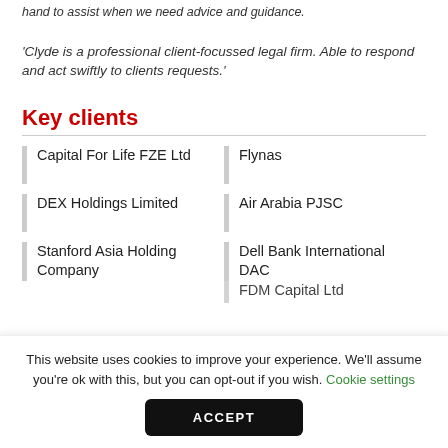hand to assist when we need advice and guidance.
'Clyde is a professional client-focussed legal firm. Able to respond and act swiftly to clients requests.'
Key clients
Capital For Life FZE Ltd
Flynas
DEX Holdings Limited
Air Arabia PJSC
Stanford Asia Holding Company
Dell Bank International DAC
FDM Capital Ltd
This website uses cookies to improve your experience. We'll assume you're ok with this, but you can opt-out if you wish. Cookie settings
ACCEPT